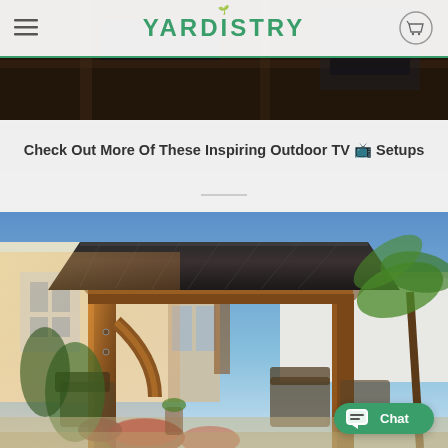YARDISTRY
[Figure (photo): Partial view of an outdoor covered TV setup with dark wooden pergola structure and solar panel roof, showing a dimly lit patio scene]
Check Out More Of These Inspiring Outdoor TV 📺 Setups
[Figure (photo): Outdoor gazebo/pergola structure with a dark metal roof and wooden cedar posts, set in a backyard with patio furniture, flowers, and palm trees. Warm golden light illuminates the structure at dusk.]
Chat